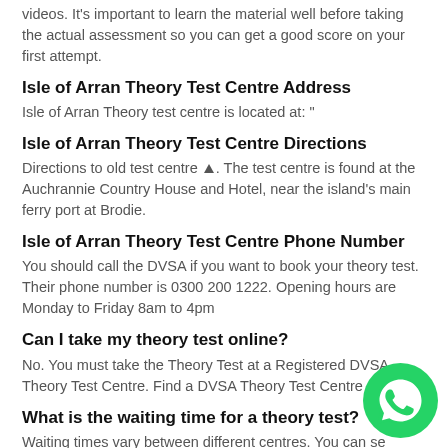videos. It's important to learn the material well before taking the actual assessment so you can get a good score on your first attempt.
Isle of Arran Theory Test Centre Address
Isle of Arran Theory test centre is located at: "
Isle of Arran Theory Test Centre Directions
Directions to old test centre ▲. The test centre is found at the Auchrannie Country House and Hotel, near the island's main ferry port at Brodie.
Isle of Arran Theory Test Centre Phone Number
You should call the DVSA if you want to book your theory test. Their phone number is 0300 200 1222. Opening hours are Monday to Friday 8am to 4pm
Can I take my theory test online?
No. You must take the Theory Test at a Registered DVSA Theory Test Centre. Find a DVSA Theory Test Centre
What is the waiting time for a theory test?
Waiting times vary between different centres. You can see going to your local DVSA website and clicking on 'waiting times'.
[Figure (logo): WhatsApp green circular logo with phone handset icon]